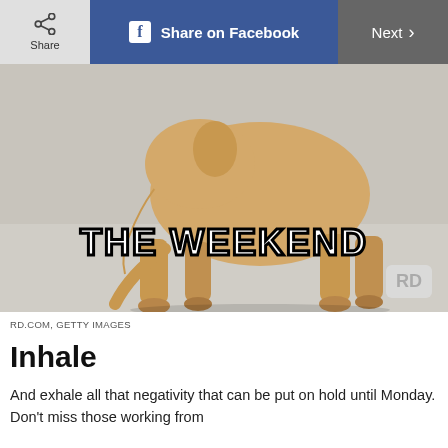Share | Share on Facebook | Next >
[Figure (photo): A dog viewed from behind with head bowed down, on a light gray background. Text overlay reads 'THE WEEKEND' in bold outlined font. RD logo badge in bottom-right corner.]
RD.COM, GETTY IMAGES
Inhale
And exhale all that negativity that can be put on hold until Monday. Don't miss those working from